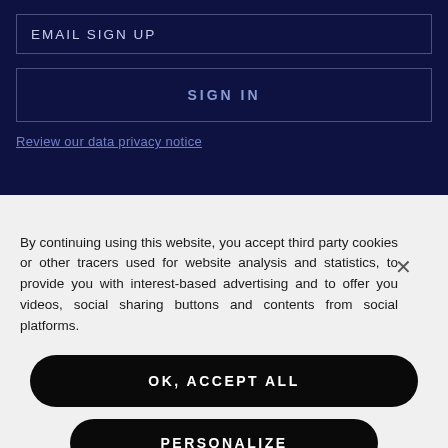EMAIL SIGN UP
SIGN IN
Review our data privacy notice
By continuing using this website, you accept third party cookies or other tracers used for website analysis and statistics, to provide you with interest-based advertising and to offer you videos, social sharing buttons and contents from social platforms.
OK, ACCEPT ALL
PERSONALIZE